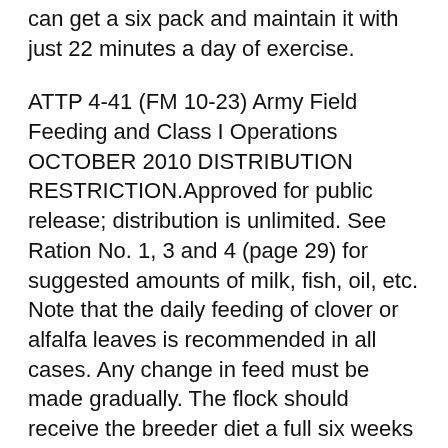can get a six pack and maintain it with just 22 minutes a day of exercise.
ATTP 4-41 (FM 10-23) Army Field Feeding and Class I Operations OCTOBER 2010 DISTRIBUTION RESTRICTION.Approved for public release; distribution is unlimited. See Ration No. 1, 3 and 4 (page 29) for suggested amounts of milk, fish, oil, etc. Note that the daily feeding of clover or alfalfa leaves is recommended in all cases. Any change in feed must be made gradually. The flock should receive the breeder diet a full six weeks or two months prior to saving the first eggs for hatching. FATTENING RATIONS